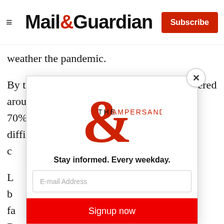Mail & Guardian — Subscribe
weather the pandemic.
By the end of the year, the sector had recovered around 70% of its normal annual production, in difficult c
L b fa R
T sh
c
N
[Figure (screenshot): Mail & Guardian newsletter subscription modal overlay with 'The Ampersand' logo in red, tagline 'Stay informed. Every weekday.', email input field, and red 'Signup now' button. Modal has a close (X) button.]